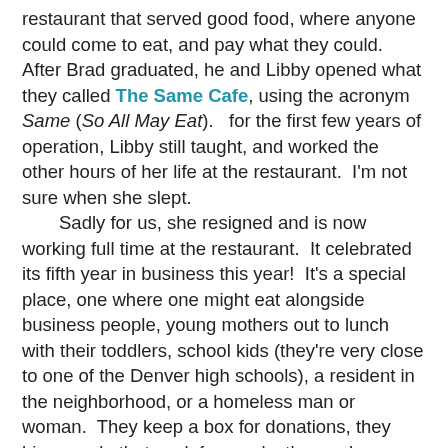restaurant that served good food, where anyone could come to eat, and pay what they could.  After Brad graduated, he and Libby opened what they called The Same Cafe, using the acronym Same (So All May Eat).   for the first few years of operation, Libby still taught, and worked the other hours of her life at the restaurant.  I'm not sure when she slept.
	Sadly for us, she resigned and is now working full time at the restaurant.  It celebrated its fifth year in business this year!  It's a special place, one where one might eat alongside business people, young mothers out to lunch with their toddlers, school kids (they're very close to one of the Denver high schools), a resident in the neighborhood, or a homeless man or woman.  They keep a box for donations, they hire people that work for meals, they welcome volunteers.  And, they cook great food.  The menu varies some, because they buy locally as much as possible, but you can always get a great personal pizza with fresh ingredients, a wonderful bowl of soup, a tasty salad of available greens, and one of Libby's famous sugar cookies.
	I imagine that each one of you has a favorite place to give your money or your time at this time of year, or any time of year.  There are many who do good works, and deserve